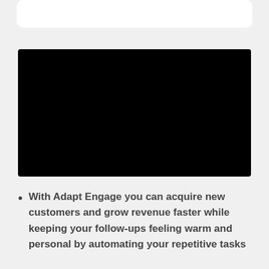[Figure (other): White rounded card at the top of the page, partially visible]
[Figure (other): Black video player rectangle]
With Adapt Engage you can acquire new customers and grow revenue faster while keeping your follow-ups feeling warm and personal by automating your repetitive tasks